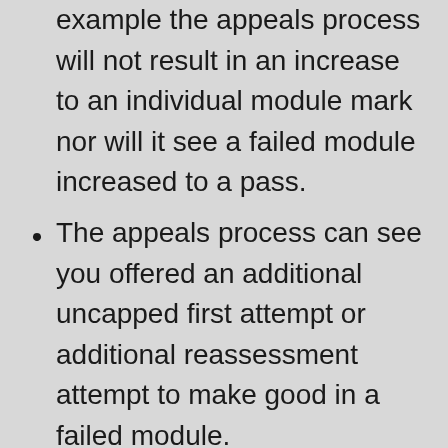example the appeals process will not result in an increase to an individual module mark nor will it see a failed module increased to a pass.
The appeals process can see you offered an additional uncapped first attempt or additional reassessment attempt to make good in a failed module.
Assessments can be made to determine whether any issue highlighted in an appeal has impacted your overall award